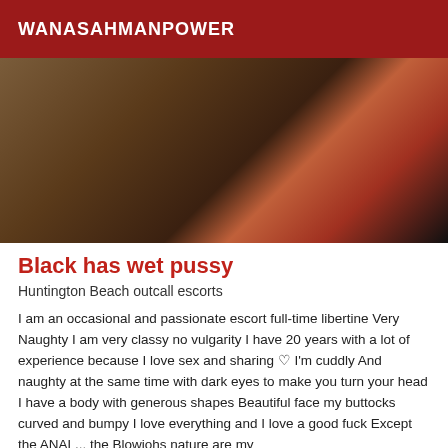WANASAHMANPOWER
[Figure (photo): Close-up photo of a person's body with dark skin and red undergarment against a dark background]
Black has wet pussy
Huntington Beach outcall escorts
I am an occasional and passionate escort full-time libertine Very Naughty I am very classy no vulgarity I have 20 years with a lot of experience because I love sex and sharing ♡ I'm cuddly And naughty at the same time with dark eyes to make you turn your head I have a body with generous shapes Beautiful face my buttocks curved and bumpy I love everything and I love a good fuck Except the ANAL... the Blowjohs nature are my